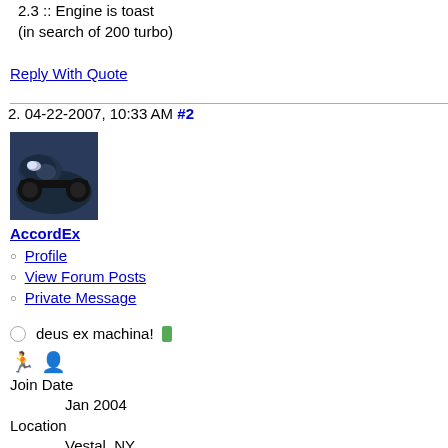2.3 :: Engine is toast
(in search of 200 turbo)
Reply With Quote
2. 04-22-2007, 10:33 AM #2
[Figure (photo): Car avatar photo showing front of a dark blue car with headlight visible]
AccordEx
Profile
View Forum Posts
Private Message
deus ex machina!
Join Date
    Jan 2004
Location
    Vestal, NY
Posts
    3,555